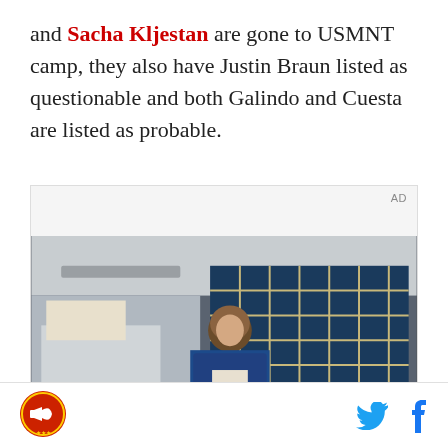and Sacha Kljestan are gone to USMNT camp, they also have Justin Braun listed as questionable and both Galindo and Cuesta are listed as probable.
[Figure (screenshot): Video advertisement showing a young man in a denim jacket standing in front of a building with blue grid windows. Text overlay reads 'Unfold your world' with a play button icon. 'AD' label in top right corner.]
Social sharing icons: Twitter and Facebook